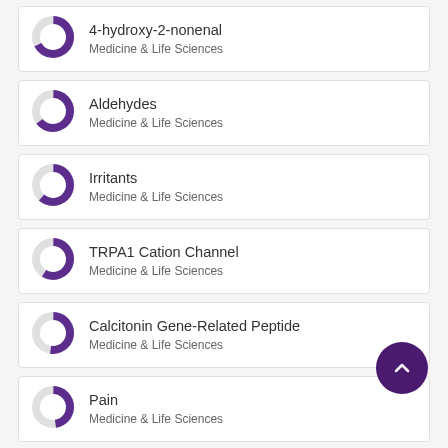4-hydroxy-2-nonenal
Medicine & Life Sciences
Aldehydes
Medicine & Life Sciences
Irritants
Medicine & Life Sciences
TRPA1 Cation Channel
Medicine & Life Sciences
Calcitonin Gene-Related Peptide
Medicine & Life Sciences
Pain
Medicine & Life Sciences
Substance P
Medicine & Life Sciences